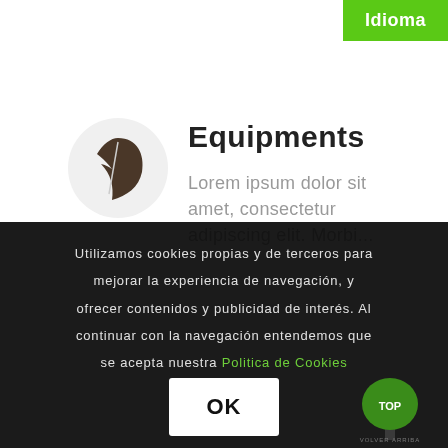Idioma
[Figure (illustration): Dark brown leaf icon inside a light gray circle]
Equipments
Lorem ipsum dolor sit amet, consectetur adipiscing elit. Morbi...
Utilizamos cookies propias y de terceros para mejorar la experiencia de navegación, y ofrecer contenidos y publicidad de interés. Al continuar con la navegación entendemos que se acepta nuestra Politica de Cookies
[Figure (logo): Green tree with TOP label, back-to-top button]